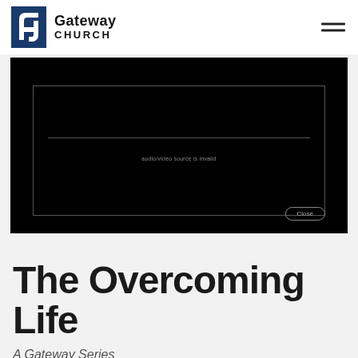Gateway Church
[Figure (screenshot): Video player embedded in black background showing error message 'audio/video source is invalid' with a Close button]
The Overcoming Life
A Gateway Series